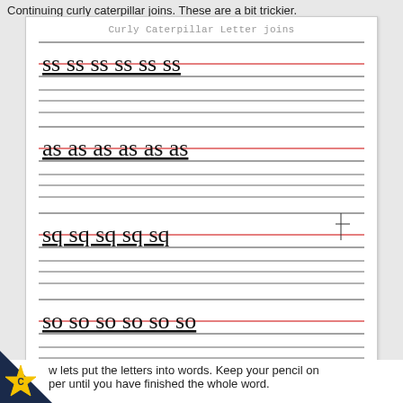Continuing curly caterpillar joins. These are a bit trickier.
[Figure (illustration): Handwriting practice worksheet showing 'Curly Caterpillar Letter joins' with four rows of cursive letter pairs: 'ss', 'as', 'sq', and 'so', each repeated 5-6 times on ruled lines with a red baseline. Blank practice lines follow each example row.]
Now lets put the letters into words. Keep your pencil on the paper until you have finished the whole word.